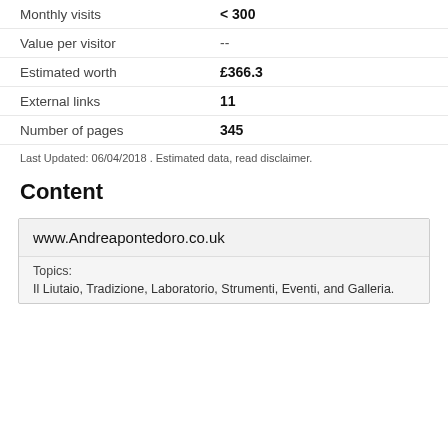| Metric | Value |
| --- | --- |
| Monthly visits | < 300 |
| Value per visitor | -- |
| Estimated worth | £366.3 |
| External links | 11 |
| Number of pages | 345 |
Last Updated: 06/04/2018 . Estimated data, read disclaimer.
Content
www.Andreapontedoro.co.uk
Topics:
Il Liutaio, Tradizione, Laboratorio, Strumenti, Eventi, and Galleria.